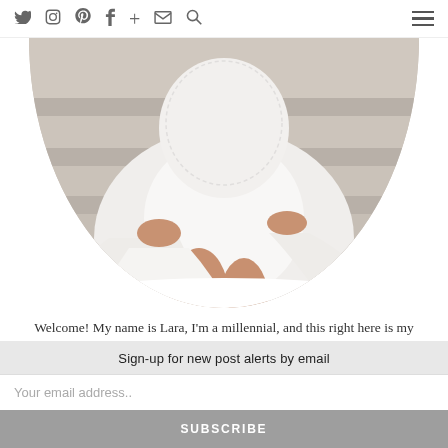Social icons: Twitter, Instagram, Pinterest, Facebook, Plus, Email, Search; Hamburger menu
[Figure (photo): Cropped circle photo showing a person in a white ruffled dress sitting on marble steps]
Welcome! My name is Lara, I'm a millennial, and this right here is my blog. Basically, I use my skills from my past life as a researcher and passion for this life as a writer to bring you only the best in food, travel and lifestyle.
Sign-up for new post alerts by email
Your email address..
SUBSCRIBE